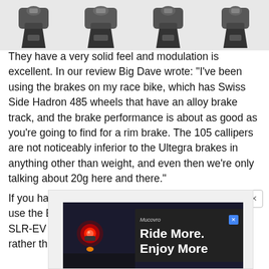[Figure (photo): Four bicycle brake calipers/components shown from below against a white background]
They have a very solid feel and modulation is excellent. In our review Big Dave wrote: "I've been using the brakes on my race bike, which has Swiss Side Hadron 485 wheels that have an alloy brake track, and the brake performance is about as good as you're going to find for a rim brake. The 105 callipers are not noticeably inferior to the Ultegra brakes in anything other than weight, and even then we're only talking about 20g here and there."
If you have a frame with direct mount points, you can use the BR-7010 versions (£44.99) built to the same SLR-EV design but with two frame mounting points rather than the traditional single.
[Figure (screenshot): Advertisement banner: 'Ride More. Enjoy More' showing a red bike light and an orange element against a dark background, with Mucovro branding and a Google ad close button]